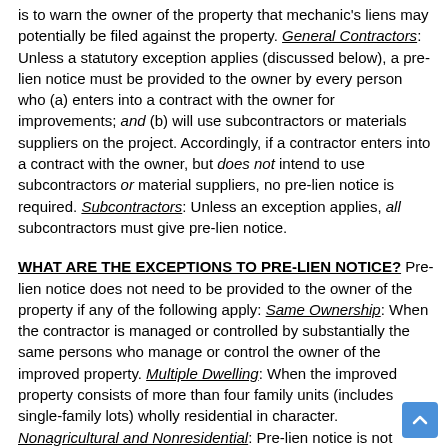is to warn the owner of the property that mechanic's liens may potentially be filed against the property. General Contractors: Unless a statutory exception applies (discussed below), a pre-lien notice must be provided to the owner by every person who (a) enters into a contract with the owner for improvements; and (b) will use subcontractors or materials suppliers on the project. Accordingly, if a contractor enters into a contract with the owner, but does not intend to use subcontractors or material suppliers, no pre-lien notice is required. Subcontractors: Unless an exception applies, all subcontractors must give pre-lien notice.
WHAT ARE THE EXCEPTIONS TO PRE-LIEN NOTICE? Pre-lien notice does not need to be provided to the owner of the property if any of the following apply: Same Ownership: When the contractor is managed or controlled by substantially the same persons who manage or control the owner of the improved property. Multiple Dwelling: When the improved property consists of more than four family units (includes single-family lots) wholly residential in character. Nonagricultural and Nonresidential: Pre-lien notice is not required when the property improved is not agricultural and wholly or partially nonresidential if the work: (1) Is to provide or add more than 5,000 total usable square feet; or (2) Is an improvement to real property where existing property to